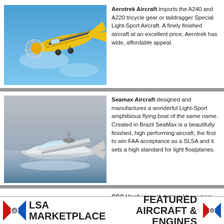[Figure (photo): Yellow light-sport aircraft in flight against blue sky]
Aerotrek Aircraft imports the A240 and A220 tricycle gear or taildragger Special Light-Sport Aircraft. A finely finished aircraft at an excellent price, Aerotrek has wide, affordable appeal.
[Figure (photo): Seamax amphibious flying boat on water, grey sky]
Seamax Aircraft designed and manufactures a wonderful Light-Sport amphibious flying boat of the same name. Created in Brazil SeaMax is a beautifully finished, high performing aircraft, the first to win FAA acceptance as a SLSA and it sets a high standard for light floatplanes.
CGS Hawk is much-beloved by owners, with
[Figure (logo): LSA Marketplace logo with red/blue X badge]
[Figure (logo): Featured Aircraft & Engines logo with red/blue X badge]